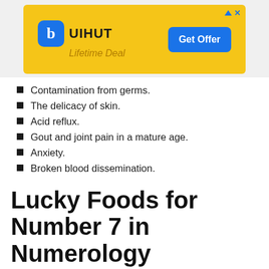[Figure (other): Advertisement banner for UIHUT with yellow background, blue logo, 'UIHUT' text, 'Lifetime Deal' tagline, and blue 'Get Offer' button]
Contamination from germs.
The delicacy of skin.
Acid reflux.
Gout and joint pain in a mature age.
Anxiety.
Broken blood dissemination.
Lucky Foods for Number 7 in Numerology
The principle herbs of number 7 people are lettuce, cabbage, cucumber, mushrooms, apples, grapes, and all organic product juices. They should devour them however much as could reason... to